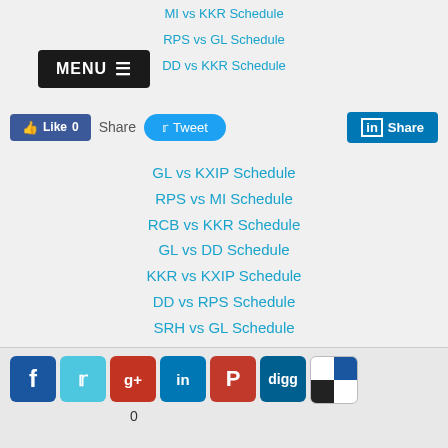[Figure (screenshot): MENU button with hamburger icon in top left]
MI vs KKR Schedule
RPS vs GL Schedule
DD vs KKR Schedule
[Figure (screenshot): Social sharing bar with Like 0, Share, Tweet, and LinkedIn Share buttons]
GL vs KXIP Schedule
RPS vs MI Schedule
RCB vs KKR Schedule
GL vs DD Schedule
KKR vs KXIP Schedule
DD vs RPS Schedule
SRH vs GL Schedule
RCB vs RPS Schedule
KXIP vs DD Schedule
MI vs SRH Schedule
KKR vs GL Schedule
KXIP vs RCB Schedule
RPS vs SRH Schedule
RCB vs MI Schedule
[Figure (screenshot): Bottom social media icons: Facebook, Twitter, Google+, LinkedIn, Pinterest, Digg, ShareThis, with count 0]